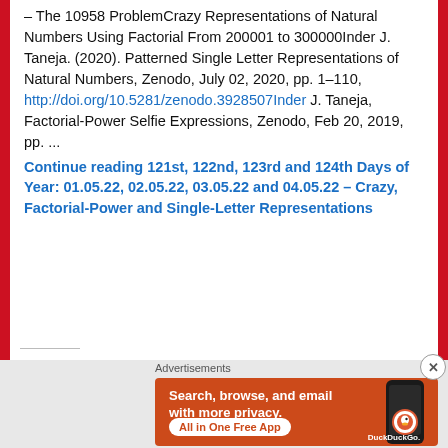– The 10958 ProblemCrazy Representations of Natural Numbers Using Factorial From 200001 to 300000Inder J. Taneja. (2020). Patterned Single Letter Representations of Natural Numbers, Zenodo, July 02, 2020, pp. 1–110, http://doi.org/10.5281/zenodo.3928507Inder J. Taneja, Factorial-Power Selfie Expressions, Zenodo, Feb 20, 2019, pp. ...
Continue reading 121st, 122nd, 123rd and 124th Days of Year: 01.05.22, 02.05.22, 03.05.22 and 04.05.22 – Crazy, Factorial-Power and Single-Letter Representations
Advertisements
[Figure (illustration): DuckDuckGo advertisement banner with orange background showing text 'Search, browse, and email with more privacy. All in One Free App' and a phone illustration with DuckDuckGo logo.]